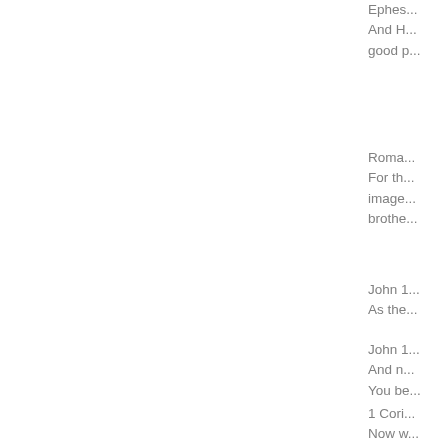Ephes...
And H...
good p...
Roma...
For th...
image...
broth...
John 1...
As the...
John 1...
And n...
You be...
1 Cori...
Now w...
face. N...
known...
Poste...